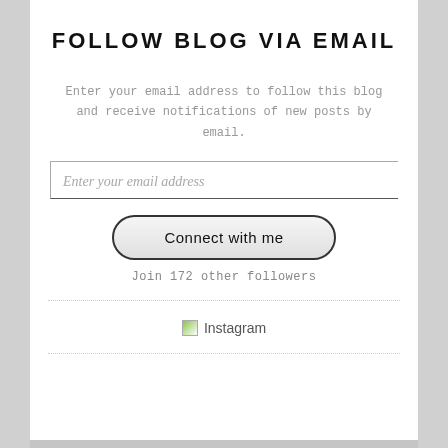FOLLOW BLOG VIA EMAIL
Enter your email address to follow this blog and receive notifications of new posts by email.
Enter your email address
[Figure (other): Connect with me button — rounded rectangle button with gradient background and dark border]
Join 172 other followers
[Figure (other): Instagram broken image placeholder with text 'Instagram']